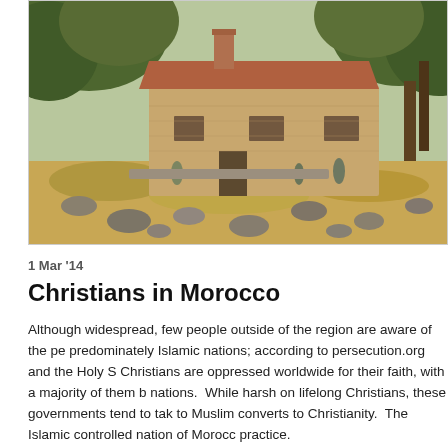[Figure (photo): Outdoor photograph of a stone farmhouse or rural building with a red-tiled roof, surrounded by trees and rocky terrain. The image has a warm, slightly vintage tone. Several people are visible near the building. The foreground shows dry grassy ground with scattered rocks.]
1 Mar '14
Christians in Morocco
Although widespread, few people outside of the region are aware of the pe predominately Islamic nations; according to persecution.org and the Holy S Christians are oppressed worldwide for their faith, with a majority of them b nations.  While harsh on lifelong Christians, these governments tend to tak to Muslim converts to Christianity.  The Islamic controlled nation of Morocc practice.